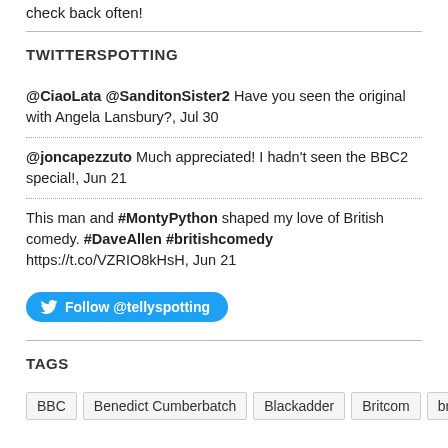check back often!
TWITTERSPOTTING
@CiaoLata @SanditonSister2 Have you seen the original with Angela Lansbury?, Jul 30
@joncapezzuto Much appreciated! I hadn't seen the BBC2 special!, Jun 21
This man and #MontyPython shaped my love of British comedy. #DaveAllen #britishcomedy https://t.co/VZRIO8kHsH, Jun 21
Follow @tellyspotting
TAGS
BBC
Benedict Cumberbatch
Blackadder
Britcom
british